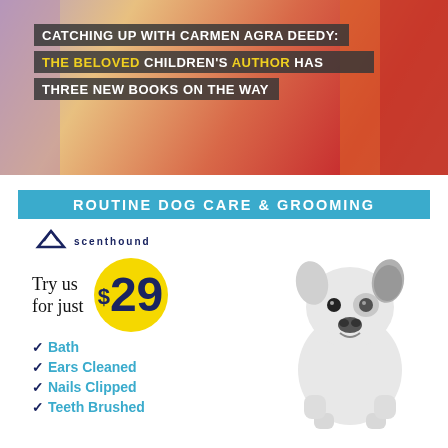[Figure (photo): Banner image of a children's author in a colorful library/bookstore setting with overlaid text]
CATCHING UP WITH CARMEN AGRA DEEDY: THE BELOVED CHILDREN'S AUTHOR HAS THREE NEW BOOKS ON THE WAY
[Figure (infographic): Scenthound dog grooming advertisement with logo, $29 offer, checklist of services, and French Bulldog photo]
ROUTINE DOG CARE & GROOMING
Try us for just $29
Bath
Ears Cleaned
Nails Clipped
Teeth Brushed
DUNWOODY (678) 990-1900   CHASTAIN SQUARE (470) 607-5100   TUCKER (770) 538-1790